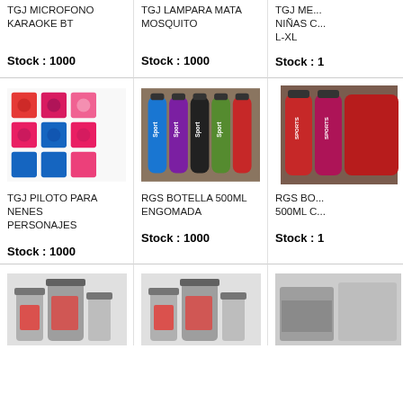TGJ MICROFONO KARAOKE BT
Stock : 1000
TGJ LAMPARA MATA MOSQUITO
Stock : 1000
TGJ ME... NIÑAS C... L-XL
Stock : 1...
[Figure (photo): TGJ PILOTO PARA NENES - colorful children's raincoats with character designs]
TGJ PILOTO PARA NENES PERSONAJES
Stock : 1000
[Figure (photo): RGS BOTELLA 500ML ENGOMADA - colorful sport bottles in blue, purple, black, green, red]
RGS BOTELLA 500ML ENGOMADA
Stock : 1000
[Figure (photo): RGS BO... 500ML C... - red sports bottle partially visible]
RGS BO... 500ML C...
Stock : 1...
[Figure (photo): Bottom left product - jars with food items]
[Figure (photo): Bottom center product - jars with food items]
[Figure (photo): Bottom right product - partially visible]